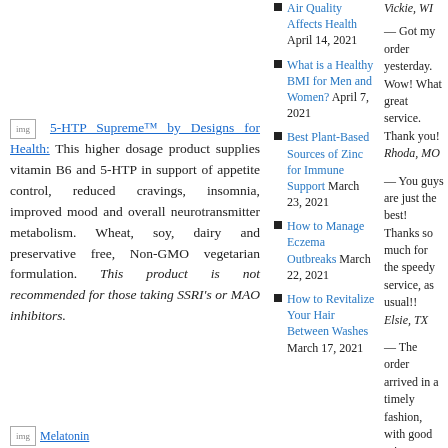5HTP Supreme  5-HTP Supreme™ by Designs for Health: This higher dosage product supplies vitamin B6 and 5-HTP in support of appetite control, reduced cravings, insomnia, improved mood and overall neurotransmitter metabolism. Wheat, soy, dairy and preservative free, Non-GMO vegetarian formulation. This product is not recommended for those taking SSRI's or MAO inhibitors.
Air Quality Affects Health April 14, 2021
What is a Healthy BMI for Men and Women? April 7, 2021
Best Plant-Based Sources of Zinc for Immune Support March 23, 2021
How to Manage Eczema Outbreaks March 22, 2021
How to Revitalize Your Hair Between Washes March 17, 2021
— Got my order yesterday. Wow! What great service. Thank you! Rhoda, MO
— You guys are just the best! Thanks so much for the speedy service, as usual!! Elsie, TX
— The order arrived in a timely fashion, with good prices as well. Catherine, FL
Vickie, WI
Melatonin PR 3 mg  Melatonin